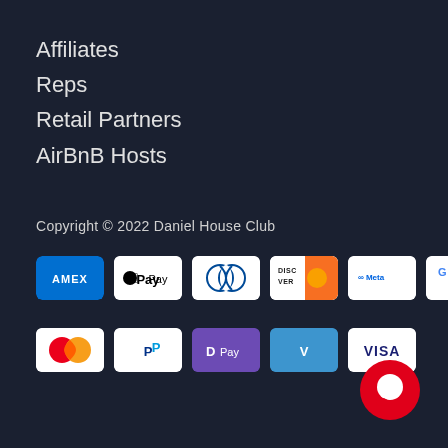Affiliates
Reps
Retail Partners
AirBnB Hosts
Copyright © 2022 Daniel House Club
[Figure (logo): Payment method icons: AMEX, Apple Pay, Diners Club, Discover, Meta Pay, Google Pay, Mastercard, PayPal, D Pay, Venmo, VISA]
[Figure (illustration): Red circle chat bubble icon in bottom right corner]